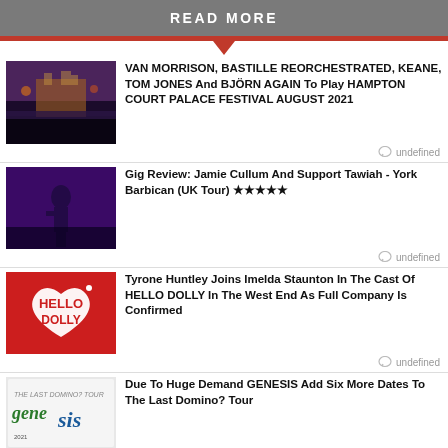READ MORE
[Figure (photo): Concert crowd at Hampton Court Palace festival, lit stage at dusk]
VAN MORRISON, BASTILLE REORCHESTRATED, KEANE, TOM JONES And BJÖRN AGAIN To Play HAMPTON COURT PALACE FESTIVAL AUGUST 2021
undefined
[Figure (photo): Concert performer on stage with purple lighting]
Gig Review: Jamie Cullum And Support Tawiah - York Barbican (UK Tour) ★★★★★
undefined
[Figure (logo): Hello Dolly logo - red background with white heart and text]
Tyrone Huntley Joins Imelda Staunton In The Cast Of HELLO DOLLY In The West End As Full Company Is Confirmed
undefined
[Figure (photo): Genesis - The Last Domino? Tour artwork with colorful stylized text]
Due To Huge Demand GENESIS Add Six More Dates To The Last Domino? Tour